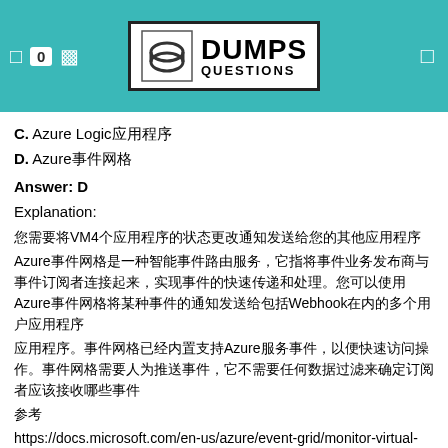0 | DUMPS QUESTIONS
C. Azure Logic应用程序
D. Azure事件网格
Answer: D
Explanation:
您需要将VM4个应用程序的状态更改通知发送给您的其他应用程序
Azure事件网格是一种智能事件路由服务，它指将事件业务发布商与事件订阅者连接起来，实现事件的快速传递和处理。您可以使用Azure事件网格将某种事件的通知发送给包括Webhook在内的多个用户应用程序。事件网格已经内置支持Azure服务事件，以便快速访问操作。事件网格需要人为推送事件，它不需要任何数据过滤来确定订阅者应该接收哪些事件
参考
https://docs.microsoft.com/en-us/azure/event-grid/monitor-virtual-machine-changes-event-grid- logic-app
NEW QUESTION: 3
Sie haben ein lokales Netzwerk, das mehrere Server